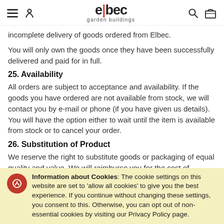elbec garden buildings
incomplete delivery of goods ordered from Elbec.
You will only own the goods once they have been successfully delivered and paid for in full.
25. Availability
All orders are subject to acceptance and availability. If the goods you have ordered are not available from stock, we will contact you by e-mail or phone (if you have given us details). You will have the option either to wait until the item is available from stock or to cancel your order.
26. Substitution of Product
We reserve the right to substitute goods or packaging of equal quality and value. We will reimburse you for the cost of returning substitute goods that you do not wish to accept.
27. Installation of Product
For supply only orders, the customer should not arrange or
Information about Cookies: The cookie settings on this website are set to 'allow all cookies' to give you the best experience. If you continue without changing these settings, you consent to this. Otherwise, you can opt out of non-essential cookies by visiting our Privacy Policy page.